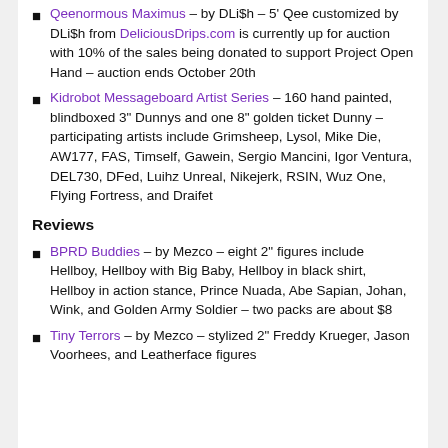Qeenormous Maximus – by DLi$h – 5' Qee customized by DLi$h from DeliciousDrips.com is currently up for auction with 10% of the sales being donated to support Project Open Hand – auction ends October 20th
Kidrobot Messageboard Artist Series – 160 hand painted, blindboxed 3" Dunnys and one 8" golden ticket Dunny – participating artists include Grimsheep, Lysol, Mike Die, AW177, FAS, Timself, Gawein, Sergio Mancini, Igor Ventura, DEL730, DFed, Luihz Unreal, Nikejerk, RSIN, Wuz One, Flying Fortress, and Draifet
Reviews
BPRD Buddies – by Mezco – eight 2" figures include Hellboy, Hellboy with Big Baby, Hellboy in black shirt, Hellboy in action stance, Prince Nuada, Abe Sapian, Johan, Wink, and Golden Army Soldier – two packs are about $8
Tiny Terrors – by Mezco – stylized 2" Freddy Krueger, Jason Voorhees, and Leatherface figures